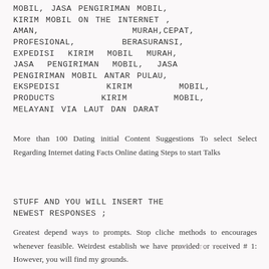MOBIL, JASA PENGIRIMAN MOBIL, KIRIM MOBIL ON THE INTERNET , AMAN, MURAH,CEPAT, PROFESIONAL, BERASURANSI, EXPEDISI KIRIM MOBIL MURAH, JASA PENGIRIMAN MOBIL, JASA PENGIRIMAN MOBIL ANTAR PULAU, EKSPEDISI KIRIM MOBIL, PRODUCTS KIRIM MOBIL, MELAYANI VIA LAUT DAN DARAT
More than 100 Dating initial Content Suggestions To select Select Regarding Internet dating Facts Online dating Steps to start Talks
STUFF AND YOU WILL INSERT THE NEWEST RESPONSES ;
Greatest depend ways to prompts. Stop cliche methods to encourages whenever feasible. Weirdest establish we have provided or received # 1: However, you will find my grounds.